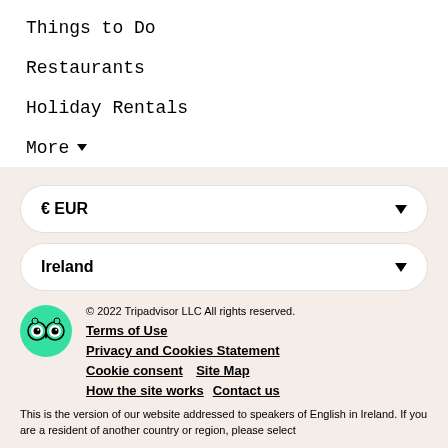Things to Do
Restaurants
Holiday Rentals
More ▾
€ EUR
Ireland
© 2022 Tripadvisor LLC All rights reserved.
Terms of Use
Privacy and Cookies Statement
Cookie consent   Site Map
How the site works   Contact us
This is the version of our website addressed to speakers of English in Ireland. If you are a resident of another country or region, please select